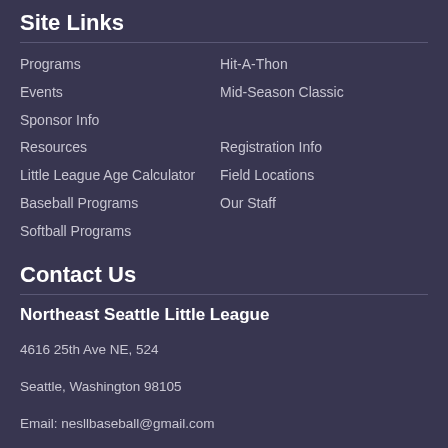Site Links
Programs
Hit-A-Thon
Events
Mid-Season Classic
Sponsor Info
Resources
Registration Info
Little League Age Calculator
Field Locations
Baseball Programs
Our Staff
Softball Programs
Contact Us
Northeast Seattle Little League
4616 25th Ave NE, 524
Seattle, Washington 98105
Email: nesllbaseball@gmail.com
Follow us!